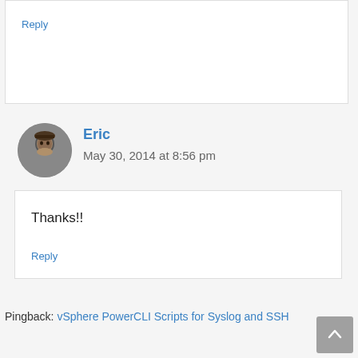Reply
Eric
May 30, 2014 at 8:56 pm
Thanks!!
Reply
Pingback: vSphere PowerCLI Scripts for Syslog and SSH